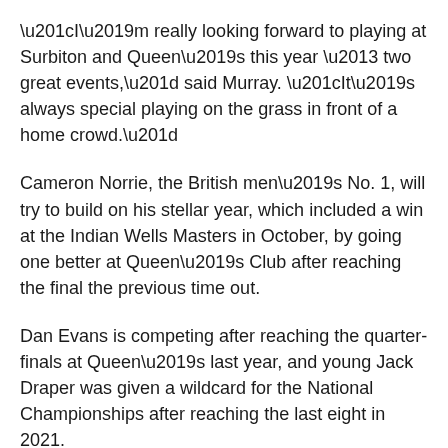“I’m really looking forward to playing at Surbiton and Queen’s this year – two great events,” said Murray. “It’s always special playing on the grass in front of a home crowd.”
Cameron Norrie, the British men’s No. 1, will try to build on his stellar year, which included a win at the Indian Wells Masters in October, by going one better at Queen’s Club after reaching the final the previous time out.
Dan Evans is competing after reaching the quarter-finals at Queen’s last year, and young Jack Draper was given a wildcard for the National Championships after reaching the last eight in 2021.
Draper has won four tournaments on the ATP Challenger